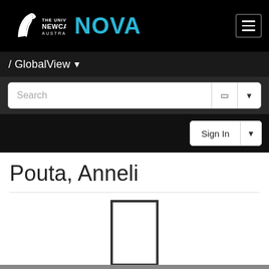[Figure (logo): University of Newcastle Australia NOVA logo in black header bar with hamburger menu button]
/ GlobalView
Search
Sign In
Pouta, Anneli
[Figure (illustration): Empty portrait/photo placeholder rectangle outline in the center of a white area]